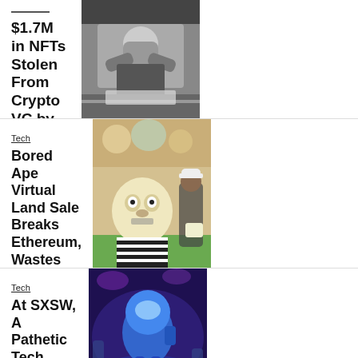$1.7M in NFTs Stolen From Crypto VC by Hackers
BY EDWARD ONGWESO JR
[Figure (photo): Black and white photo of a man in a suit holding his head in his hands]
Tech
Bored Ape Virtual Land Sale Breaks Ethereum, Wastes $180 Million in Fees
BY EDWARD ONGWESO JR
[Figure (photo): Bored Ape NFT illustration with people in background at an event]
Tech
At SXSW, A Pathetic Tech Future Struggles to Be Born
BY EDWARD ONGWESO JR
[Figure (photo): Purple-lit event space with large Among Us style character sculptures]
[Figure (photo): Partial image of people with green shirts at bottom of page]